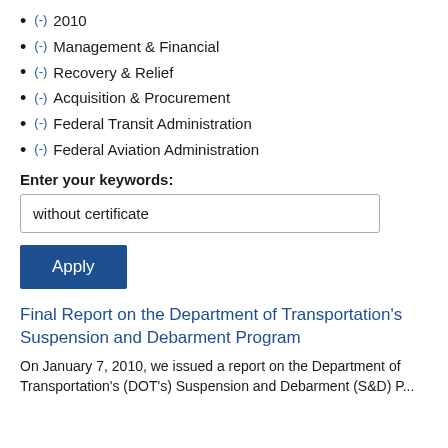(-) 2010
(-) Management & Financial
(-) Recovery & Relief
(-) Acquisition & Procurement
(-) Federal Transit Administration
(-) Federal Aviation Administration
Enter your keywords:
without certificate
Apply
Final Report on the Department of Transportation’s Suspension and Debarment Program
On January 7, 2010, we issued a report on the Department of Transportation’s (DOT’s) Suspension and Debarment (S&D) P...